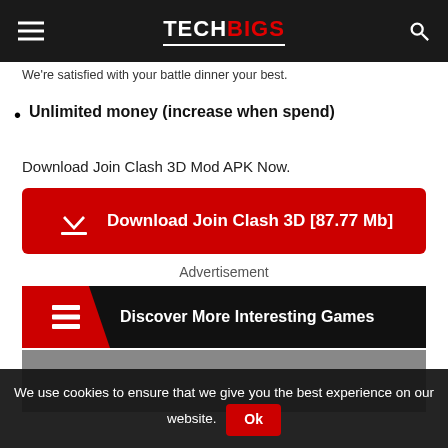TECHBIGS
We're satisfied with your battle dinner your best.
Unlimited money (increase when spend)
Download Join Clash 3D Mod APK Now.
[Figure (other): Download button: Download Join Clash 3D [87.77 Mb]]
Advertisement
[Figure (other): Discover More Interesting Games banner]
[Figure (other): Gray placeholder image area]
We use cookies to ensure that we give you the best experience on our website. Ok